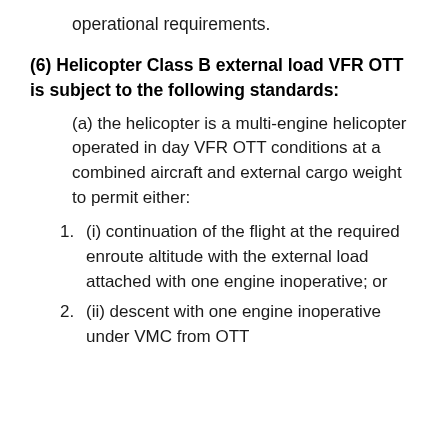operational requirements.
(6) Helicopter Class B external load VFR OTT is subject to the following standards:
(a) the helicopter is a multi-engine helicopter operated in day VFR OTT conditions at a combined aircraft and external cargo weight to permit either:
1. (i) continuation of the flight at the required enroute altitude with the external load attached with one engine inoperative; or
2. (ii) descent with one engine inoperative under VMC from OTT